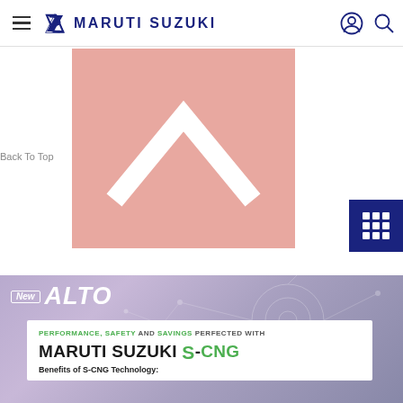MARUTI SUZUKI
Back To Top
[Figure (illustration): Pink/salmon colored square with a white upward-pointing chevron (caret/arrow) shape in the center, representing a 'Back to Top' button]
[Figure (other): Dark navy blue square grid icon button (3x3 dots/squares) in the bottom right]
[Figure (illustration): New Alto promotional banner with purple/lavender gradient background with network circuit overlay. Contains 'New ALTO' badge and a white card with text: PERFORMANCE, SAFETY AND SAVINGS PERFECTED WITH MARUTI SUZUKI S-CNG. Benefits of S-CNG Technology:]